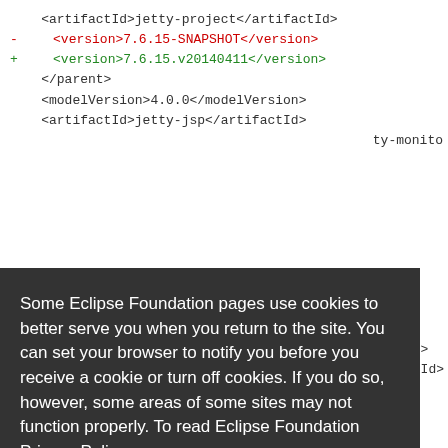<artifactId>jetty-project</artifactId>
-    <version>7.6.15-SNAPSHOT</version>
+    <version>7.6.15.v20140411</version>
</parent>
<modelVersion>4.0.0</modelVersion>
<artifactId>jetty-jsp</artifactId>
[Figure (screenshot): Cookie consent overlay on Eclipse Foundation site with Decline and Allow cookies buttons]
# jetty-nested/pom.xml
+++ b/jetty-nested/pom.xml